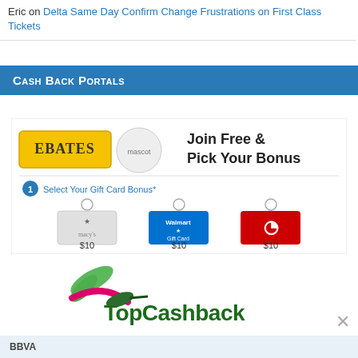Eric on Delta Same Day Confirm Change Frustrations on First Class Tickets
Cash Back Portals
[Figure (screenshot): Ebates advertisement showing 'Join Free & Pick Your Bonus' with gift card options: Macy's $10, Walmart $10, Target $10]
[Figure (logo): TopCashback logo with hummingbird graphic]
BBVA